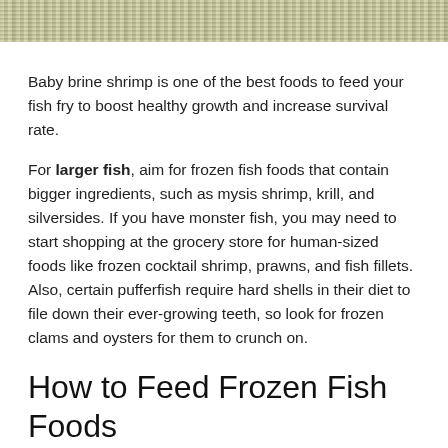[Figure (photo): Close-up photo strip of baby brine shrimp or similar small aquatic organisms, appearing as a textured golden-tan pattern at the top of the page.]
Baby brine shrimp is one of the best foods to feed your fish fry to boost healthy growth and increase survival rate.
For larger fish, aim for frozen fish foods that contain bigger ingredients, such as mysis shrimp, krill, and silversides. If you have monster fish, you may need to start shopping at the grocery store for human-sized foods like frozen cocktail shrimp, prawns, and fish fillets. Also, certain pufferfish require hard shells in their diet to file down their ever-growing teeth, so look for frozen clams and oysters for them to crunch on.
How to Feed Frozen Fish Foods
There are several methods that are commonly used to feed